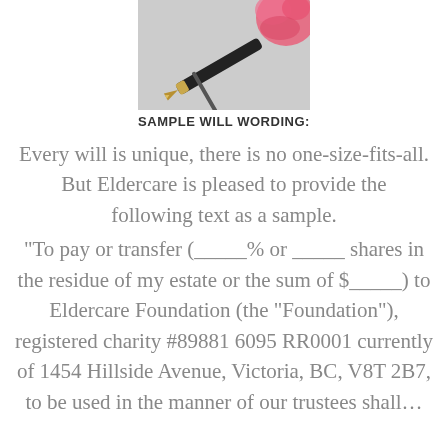[Figure (photo): A fountain pen with gold nib resting near a pink flower on a gray background]
SAMPLE WILL WORDING:
Every will is unique, there is no one-size-fits-all. But Eldercare is pleased to provide the following text as a sample.
“To pay or transfer (_____% or _____ shares in the residue of my estate or the sum of $_____) to Eldercare Foundation (the “Foundation”), registered charity #89881 6095 RR0001 currently of 1454 Hillside Avenue, Victoria, BC, V8T 2B7, to be used in the manner of our trustees shall determine…”